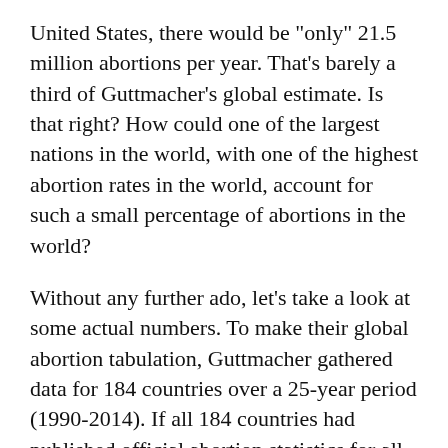United States, there would be "only" 21.5 million abortions per year. That's barely a third of Guttmacher's global estimate. Is that right? How could one of the largest nations in the world, with one of the highest abortion rates in the world, account for such a small percentage of abortions in the world?
Without any further ado, let's take a look at some actual numbers. To make their global abortion tabulation, Guttmacher gathered data for 184 countries over a 25-year period (1990-2014). If all 184 countries had published official abortion statistics for all 25 years, there would have been 4,600 country-years of data to analyze (184 x 25). In reality, there were only 962 country-years of data available, and 527 were deemed incomplete. The remaining 435 country-years represent only 9.5% of the theoretic